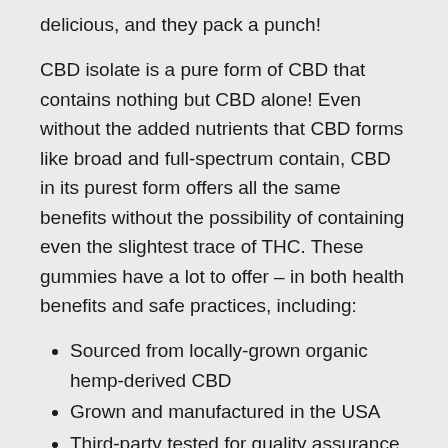delicious, and they pack a punch!
CBD isolate is a pure form of CBD that contains nothing but CBD alone! Even without the added nutrients that CBD forms like broad and full-spectrum contain, CBD in its purest form offers all the same benefits without the possibility of containing even the slightest trace of THC. These gummies have a lot to offer – in both health benefits and safe practices, including:
Sourced from locally-grown organic hemp-derived CBD
Grown and manufactured in the USA
Third-party tested for quality assurance
Contains absolutely zero THC
Helps alleviate aches or discomfort caused